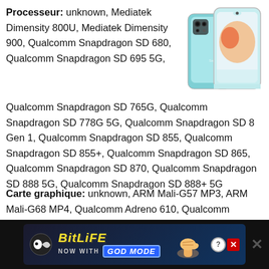Processeur: unknown, Mediatek Dimensity 800U, Mediatek Dimensity 900, Qualcomm Snapdragon SD 680, Qualcomm Snapdragon SD 695 5G, Qualcomm Snapdragon SD 765G, Qualcomm Snapdragon SD 778G 5G, Qualcomm Snapdragon SD 8 Gen 1, Qualcomm Snapdragon SD 855, Qualcomm Snapdragon SD 855+, Qualcomm Snapdragon SD 865, Qualcomm Snapdragon SD 870, Qualcomm Snapdragon SD 888 5G, Qualcomm Snapdragon SD 888+ 5G
[Figure (photo): Samsung Galaxy A23 smartphone shown from two angles — front and back, in light blue/teal color]
Carte graphique: unknown, ARM Mali-G57 MP3, ARM Mali-G68 MP4, Qualcomm Adreno 610, Qualcomm Adreno 619, Qualcomm Adreno 620, Qualcomm Adreno 640, Qualcomm Adreno 642L, Qualcomm Adreno 650
[Figure (screenshot): Advertisement banner for BitLife game with 'NOW WITH GOD MODE' text, sperm logo icon, hand pointing emoji, help and close buttons]